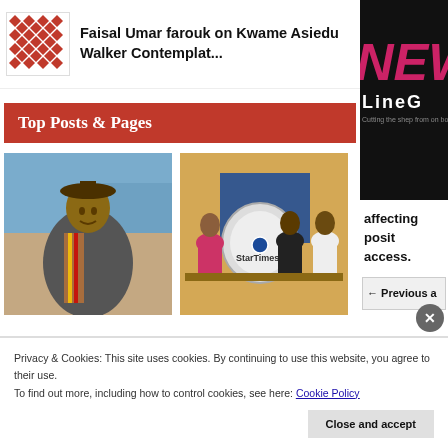[Figure (logo): Red and white geometric diamond/cross pattern logo]
Faisal Umar farouk on Kwame Asiedu Walker Contemplat...
[Figure (photo): NEWS LineG logo on black background (partially visible)]
Top Posts & Pages
[Figure (photo): Person wearing graduation gown and hat standing outdoors]
[Figure (photo): Group of people at StarTimes satellite dish promotional event]
affecting posit access.
← Previous a
Privacy & Cookies: This site uses cookies. By continuing to use this website, you agree to their use.
To find out more, including how to control cookies, see here: Cookie Policy
Close and accept